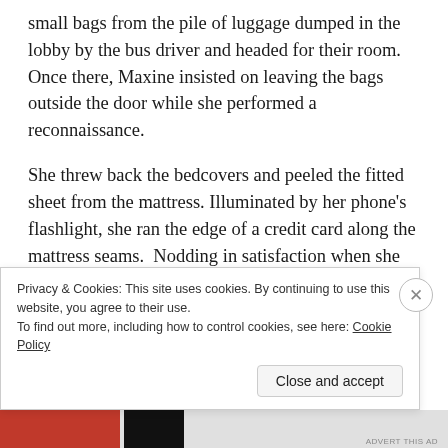small bags from the pile of luggage dumped in the lobby by the bus driver and headed for their room. Once there, Maxine insisted on leaving the bags outside the door while she performed a reconnaissance.
She threw back the bedcovers and peeled the fitted sheet from the mattress. Illuminated by her phone's flashlight, she ran the edge of a credit card along the mattress seams.  Nodding in satisfaction when she didn't find anything
Privacy & Cookies: This site uses cookies. By continuing to use this website, you agree to their use.
To find out more, including how to control cookies, see here: Cookie Policy
Close and accept